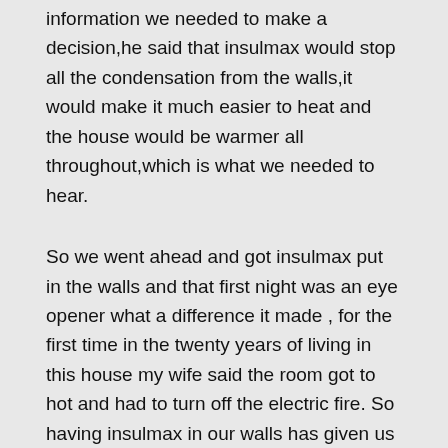information we needed to make a decision,he said that insulmax would stop all the condensation from the walls,it would make it much easier to heat and the house would be warmer all throughout,which is what we needed to hear.
So we went ahead and got insulmax put in the walls and that first night was an eye opener what a difference it made , for the first time in the twenty years of living in this house my wife said the room got to hot and had to turn off the electric fire. So having insulmax in our walls has given us smaller power bills and a house that is now a lovely warm and cosy home.
I highly recommend this product and these installers who